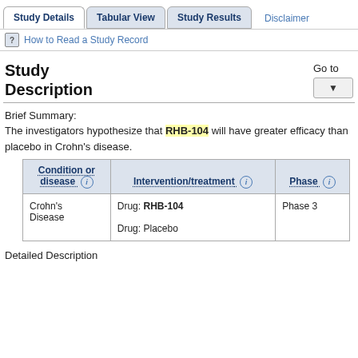Study Details | Tabular View | Study Results | Disclaimer
How to Read a Study Record
Study Description
Go to
Brief Summary:
The investigators hypothesize that RHB-104 will have greater efficacy than placebo in Crohn's disease.
| Condition or disease | Intervention/treatment | Phase |
| --- | --- | --- |
| Crohn's Disease | Drug: RHB-104
Drug: Placebo | Phase 3 |
Detailed Description